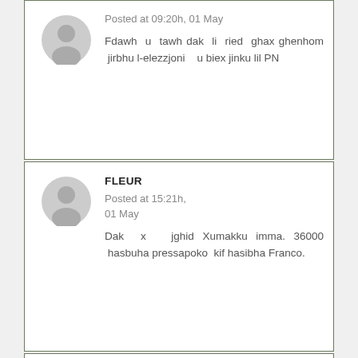[Figure (illustration): Generic user avatar icon (grey silhouette of a person)]
Posted at 09:20h, 01 May
Fdawh u tawh dak li ried ghax ghenhom jirbhu l-elezzjoni u biex jinku lil PN
[Figure (illustration): Generic user avatar icon (grey silhouette of a person)]
FLEUR
Posted at 15:21h, 01 May
Dak x jghid Xumakku imma. 36000 hasbuha pressapoko kif hasibha Franco.